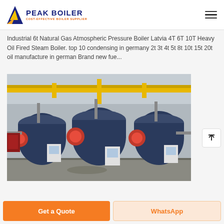PEAK BOILER COST-EFFECTIVE BOILER SUPPLIER
Industrial 6t Natural Gas Atmospheric Pressure Boiler Latvia 4T 6T 10T Heavy Oil Fired Steam Boiler. top 10 condensing in germany 2t 3t 4t 5t 8t 10t 15t 20t oil manufacture in german Brand new fue...
[Figure (photo): Industrial boiler room showing three large blue horizontal steam boilers with red burner units, yellow gas pipes running overhead, control panels in white cabinets, and piping connections on a concrete floor.]
Get a Quote
WhatsApp